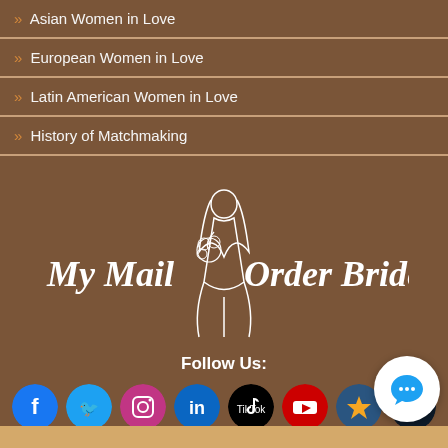» Asian Women in Love
» European Women in Love
» Latin American Women in Love
» History of Matchmaking
[Figure (logo): My Mail Order Bride logo with stylized bride illustration in white on brown background]
Follow Us:
[Figure (illustration): Social media icons: Facebook, Twitter, Instagram, LinkedIn, TikTok, YouTube, two star-rating icons, and a chat button]